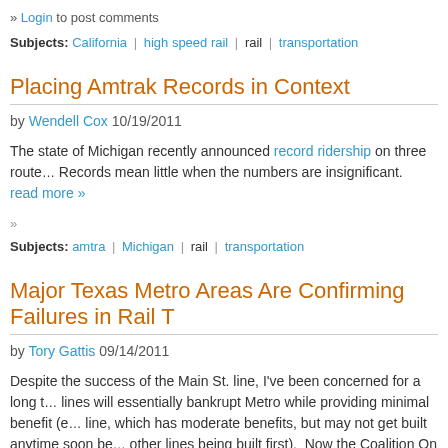» Login to post comments
Subjects: California | high speed rail | rail | transportation
Placing Amtrak Records in Context
by Wendell Cox 10/19/2011
The state of Michigan recently announced record ridership on three routes. Records mean little when the numbers are insignificant. read more »
»
Subjects: amtra | Michigan | rail | transportation
Major Texas Metro Areas Are Confirming Failures in Rail T
by Tory Gattis 09/14/2011
Despite the success of the Main St. line, I've been concerned for a long time that lines will essentially bankrupt Metro while providing minimal benefit (e... line, which has moderate benefits, but may not get built anytime soon be... other lines being built first). Now the Coalition On Sustainable Transpo... the numbers from other cities (especially Dallas) that don't bode well for...